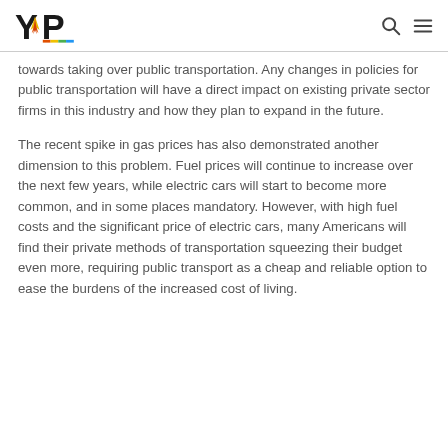YP logo with search and menu icons
towards taking over public transportation. Any changes in policies for public transportation will have a direct impact on existing private sector firms in this industry and how they plan to expand in the future.
The recent spike in gas prices has also demonstrated another dimension to this problem. Fuel prices will continue to increase over the next few years, while electric cars will start to become more common, and in some places mandatory. However, with high fuel costs and the significant price of electric cars, many Americans will find their private methods of transportation squeezing their budget even more, requiring public transport as a cheap and reliable option to ease the burdens of the increased cost of living.